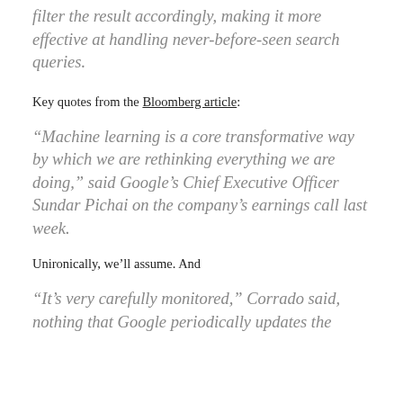filter the result accordingly, making it more effective at handling never-before-seen search queries.
Key quotes from the Bloomberg article:
“Machine learning is a core transformative way by which we are rethinking everything we are doing,” said Google’s Chief Executive Officer Sundar Pichai on the company’s earnings call last week.
Unironically, we’ll assume. And
“It’s very carefully monitored,” Corrado said, nothing that Google periodically updates the